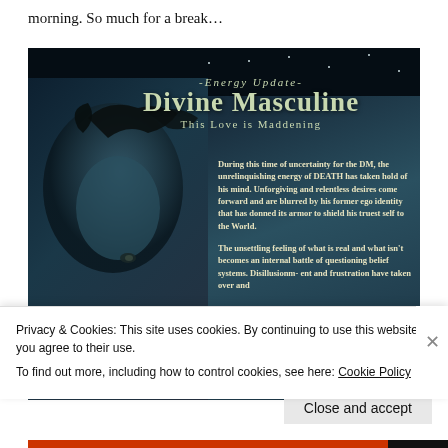morning. So much for a break…
[Figure (illustration): Dark fantasy illustration with title 'Energy Update - Divine Masculine - This Love is Maddening'. Shows a figure with flowing hair against a dark teal/midnight background with stars. Text overlay describing the DM's energy update about uncertainty, death energy, ego identity, and disilusionment.]
Privacy & Cookies: This site uses cookies. By continuing to use this website, you agree to their use.
To find out more, including how to control cookies, see here: Cookie Policy
Close and accept